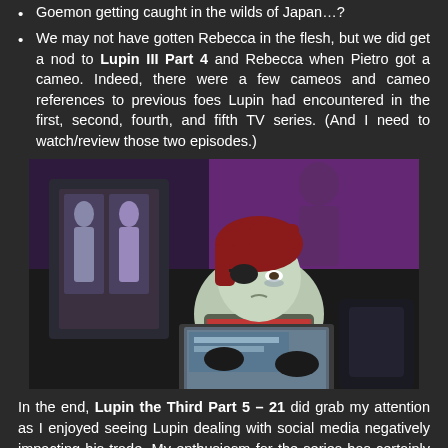Goemon getting caught in the wilds of Japan…?
We may not have gotten Rebecca in the flesh, but we did get a nod to Lupin III Part 4 and Rebecca when Pietro got a cameo. Indeed, there were a few cameos and cameo references to previous foes Lupin had encountered in the first, second, fourth, and fifth TV series. (And I need to watch/review those two episodes.)
[Figure (screenshot): Anime screenshot from Lupin the Third Part 5 showing a chubby character with red hair and an eye patch sitting at a laptop in a dark environment with purple lighting.]
In the end, Lupin the Third Part 5 – 21 did grab my attention as I enjoyed seeing Lupin dealing with social media negatively impacting his trade. My enthusiasm for the series has certainly returned.